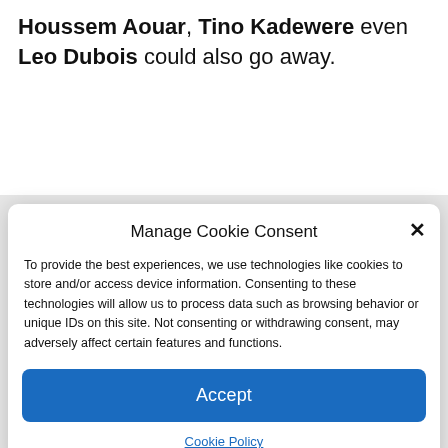Houssem Aouar, Tino Kadewere even Leo Dubois could also go away.
[Figure (screenshot): Cookie consent modal dialog overlay with title 'Manage Cookie Consent', descriptive text about cookies, an Accept button, and a Cookie Policy link.]
Manage Cookie Consent
To provide the best experiences, we use technologies like cookies to store and/or access device information. Consenting to these technologies will allow us to process data such as browsing behavior or unique IDs on this site. Not consenting or withdrawing consent, may adversely affect certain features and functions.
Accept
Cookie Policy